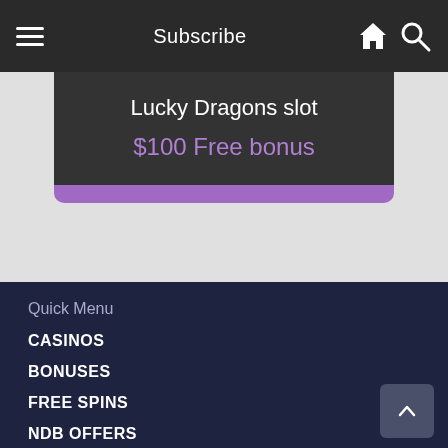Subscribe
Lucky Dragons slot
$100 Free bonus
Quick Menu
CASINOS
BONUSES
FREE SPINS
NDB OFFERS
INSTANT BONUS
SLOT GAMES